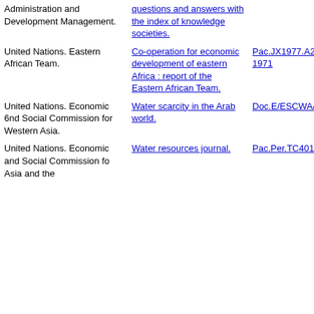| Author | Title | Call Number |
| --- | --- | --- |
| Administration and Development Management. | questions and answers with the index of knowledge societies. |  |
| United Nations. Eastern African Team. | Co-operation for economic development of eastern Africa : report of the Eastern African Team. | Pac.JX1977.A2 1971 |
| United Nations. Economic 6nd Social Commission for Western Asia. | Water scarcity in the Arab world. | Doc.E/ESCWA/SDD/2003/12 |
| United Nations. Economic and Social Commission fo Asia and the | Water resources journal. | Pac.Per.TC401.F46C65 |